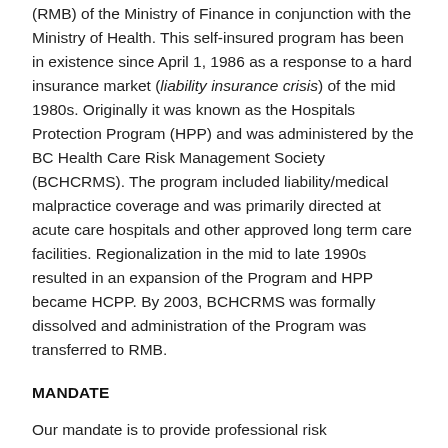(RMB) of the Ministry of Finance in conjunction with the Ministry of Health. This self-insured program has been in existence since April 1, 1986 as a response to a hard insurance market (liability insurance crisis) of the mid 1980s. Originally it was known as the Hospitals Protection Program (HPP) and was administered by the BC Health Care Risk Management Society (BCHCRMS). The program included liability/medical malpractice coverage and was primarily directed at acute care hospitals and other approved long term care facilities. Regionalization in the mid to late 1990s resulted in an expansion of the Program and HPP became HCPP. By 2003, BCHCRMS was formally dissolved and administration of the Program was transferred to RMB.
MANDATE
Our mandate is to provide professional risk management services for our members including risk management, loss control, risk financing, and claims and litigation management to public Health Care Agencies (HCAs) across the Province.
CORE SERVICES